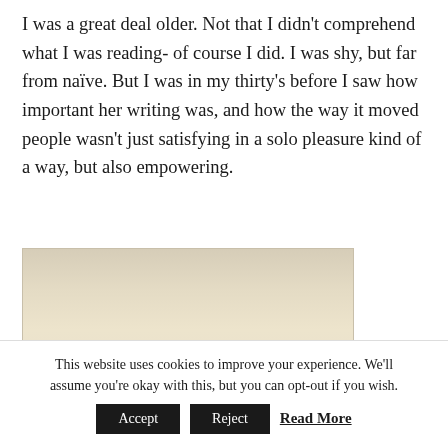I was a great deal older. Not that I didn't comprehend what I was reading- of course I did. I was shy, but far from naïve. But I was in my thirty's before I saw how important her writing was, and how the way it moved people wasn't just satisfying in a solo pleasure kind of a way, but also empowering.
[Figure (photo): A photograph of a worn book page or card with italic text reading: 'I am an excitable person who only understands life' and partially visible text below.]
This website uses cookies to improve your experience. We'll assume you're okay with this, but you can opt-out if you wish.
Accept   Reject   Read More